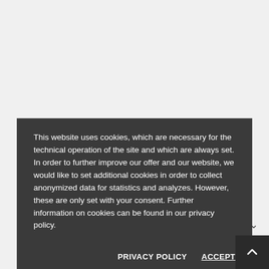[Figure (logo): Dollenmeier company logo with blue circular icon and text 'dollenmeier']
This website uses cookies, which are necessary for the technical operation of the site and which are always set. In order to further improve our offer and our website, we would like to set additional cookies in order to collect anonymized data for statistics and analyzes. However, these are only set with your consent. Further information on cookies can be found in our privacy policy.
PRIVACY POLICY    ACCEPT
CONTACT
INFORMATION
ACCOUNT